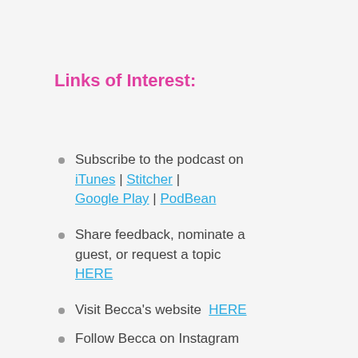Links of Interest:
Subscribe to the podcast on iTunes | Stitcher | Google Play | PodBean
Share feedback, nominate a guest, or request a topic HERE
Visit Becca's website HERE
Follow Becca on Instagram